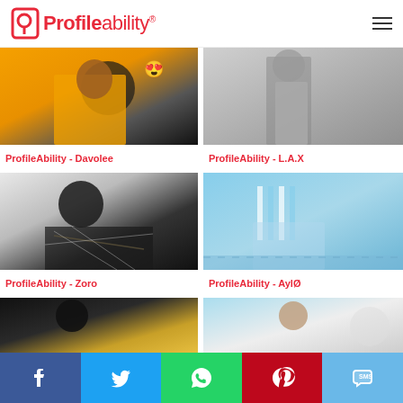Profileability
[Figure (photo): ProfileAbility - Davolee: man in yellow jacket side profile with emoji]
ProfileAbility - Davolee
[Figure (photo): ProfileAbility - L.A.X: man in grey outfit standing]
ProfileAbility - L.A.X
[Figure (photo): ProfileAbility - Zoro: man with chain necklace in patterned shirt]
ProfileAbility - Zoro
[Figure (photo): ProfileAbility - AylØ: person sitting by pool in striped shirt]
ProfileAbility - AylØ
[Figure (photo): Bottom left partial image - dark background]
[Figure (photo): Bottom right partial image - person with light background]
Facebook Twitter WhatsApp Pinterest SMS